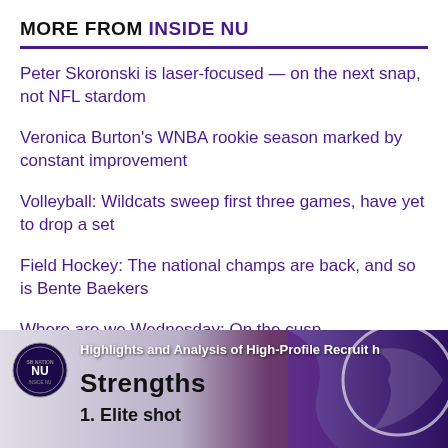MORE FROM INSIDE NU
Peter Skoronski is laser-focused — on the next snap, not NFL stardom
Veronica Burton's WNBA rookie season marked by constant improvement
Volleyball: Wildcats sweep first three games, have yet to drop a set
Field Hockey: The national champs are back, and so is Bente Baekers
Where are we Wednesday: On the cusp
Five things we learned from Northwestern's gritty victory over Nebraska
[Figure (screenshot): Video thumbnail showing a recruiting highlights and analysis graphic with 'Strengths 1. Elite shot' text and a Northwestern logo, with partial view of a player on the right side]